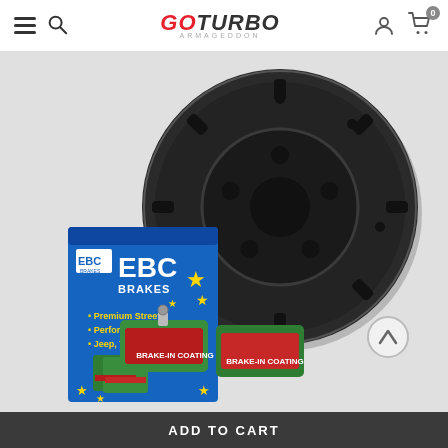GoTurbo Armageddon — navigation header with hamburger menu, search, logo, account, and cart icons
[Figure (photo): Product photo showing EBC Brakes kit: a large black slotted brake disc rotor, an EBC Brakes box (blue with yellow stars and green brake pads imagery), and green EBC Greenstuff brake pads with BRAKE-IN COATING text visible, on a light grey background.]
ADD TO CART